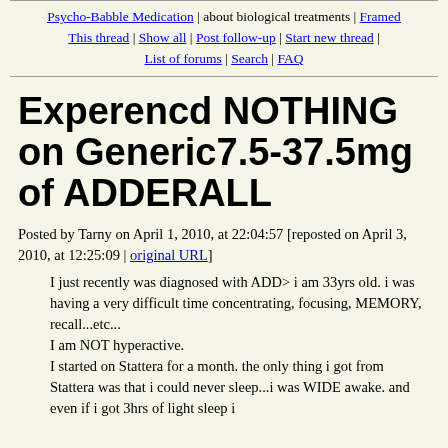Psycho-Babble Medication | about biological treatments | Framed This thread | Show all | Post follow-up | Start new thread | List of forums | Search | FAQ
Experencd NOTHING on Generic7.5-37.5mg of ADDERALL
Posted by Tarny on April 1, 2010, at 22:04:57 [reposted on April 3, 2010, at 12:25:09 | original URL]
I just recently was diagnosed with ADD> i am 33yrs old. i was having a very difficult time concentrating, focusing, MEMORY, recall...etc...
I am NOT hyperactive.
I started on Stattera for a month. the only thing i got from Stattera was that i could never sleep...i was WIDE awake. and even if i got 3hrs of light sleep i